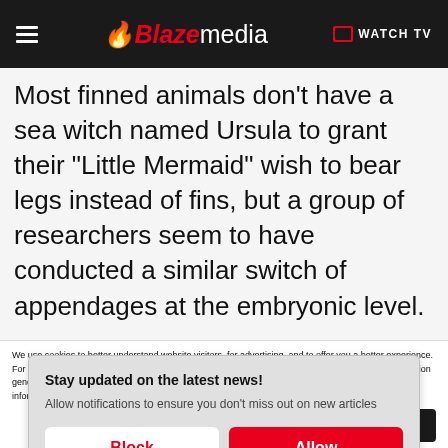Blaze media | WATCH TV
Most finned animals don't have a sea witch named Ursula to grant their "Little Mermaid" wish to bear legs instead of fins, but a group of researchers seem to have conducted a similar switch of appendages at the embryonic level.
Stay updated on the latest news! Allow notifications to ensure you don't miss out on new articles
Block | Allow
We use cookies to better understand website visitors, for advertising, and to offer you a better experience. For more information about our use of cookies, our collection, use, and disclosure of personal information generally, and any rights you may have to access, delete, or opt out of the sale of your personal information, please view our Privacy Policy.
Learn more | CLOSE